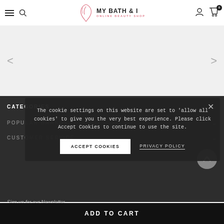MY BATH & I — ONLINE BEAUTY SHOP (navigation header with hamburger menu, search, logo, user, cart icons)
[Figure (screenshot): Image slider / carousel area with left and right navigation arrows on a light grey background]
CATEGORIES
POPULAR BRANDS
CUSTOMER SERVICE
The cookie settings on this website are set to 'allow all cookies' to give you the very best experience. Please click Accept Cookies to continue to use the site.
ACCEPT COOKIES
PRIVACY POLICY
Sign up for our Newsletter
ADD TO CART